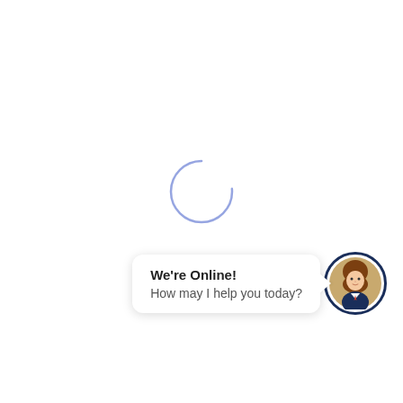[Figure (other): A loading spinner circle rendered in blue outline, centered on the page]
[Figure (other): Chat popup widget with speech bubble saying 'We're Online! How may I help you today?' and a circular avatar of a female customer service representative with dark navy border]